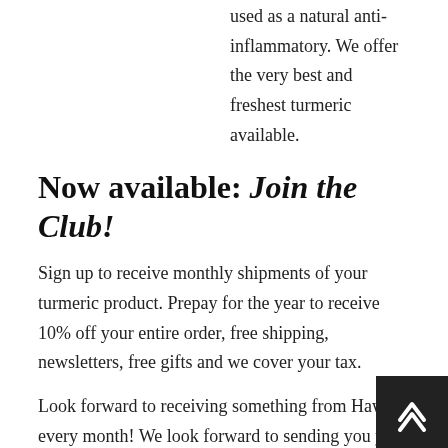used as a natural anti-inflammatory. We offer the very best and freshest turmeric available.
Now available: Join the Club!
Sign up to receive monthly shipments of your turmeric product. Prepay for the year to receive 10% off your entire order, free shipping, newsletters, free gifts and we cover your tax.
Look forward to receiving something from Hawaii every month! We look forward to sending you your fresh turmeric product to you for no extra charge and we include an informational newsletter and an occasional gift. Click on the products in the shop to learn more